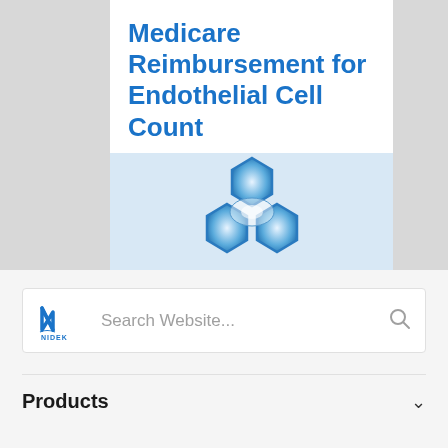Medicare Reimbursement for Endothelial Cell Count
[Figure (logo): Nidek honeycomb/cell logo — three blue hexagonal cell shapes arranged in a triangle on a light blue background]
[Figure (logo): NIDEK logo mark — stylized italic N with 'NIDEX' text below]
Search Website...
Products